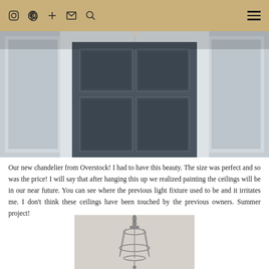social media icons and hamburger menu
[Figure (photo): Interior view of a dark navy/charcoal front door with white trim surround and sidelights, viewed from inside the home.]
Our new chandelier from Overstock! I had to have this beauty. The size was perfect and so was the price! I will say that after hanging this up we realized painting the ceilings will be in our near future. You can see where the previous light fixture used to be and it irritates me. I don't think these ceilings have been touched by the previous owners. Summer project!
[Figure (photo): A wire/cage style chandelier hanging from a chain against a neutral background, partially visible at the bottom of the page.]